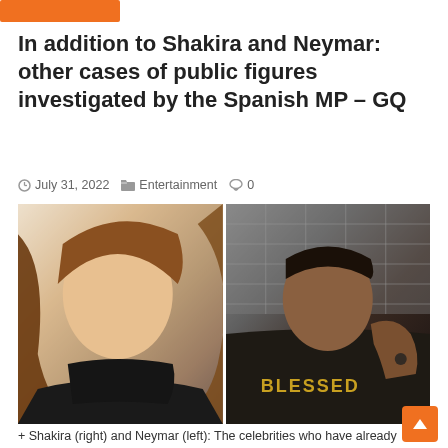[Figure (other): Orange navigation bar/button at top of page]
In addition to Shakira and Neymar: other cases of public figures investigated by the Spanish MP – GQ
July 31, 2022   Entertainment   0
[Figure (photo): Side-by-side photos: left shows Shakira (woman with long wavy brown hair, black outfit), right shows Neymar (man in black BLESSED hoodie)]
+ Shakira (right) and Neymar (left): The celebrities who have already